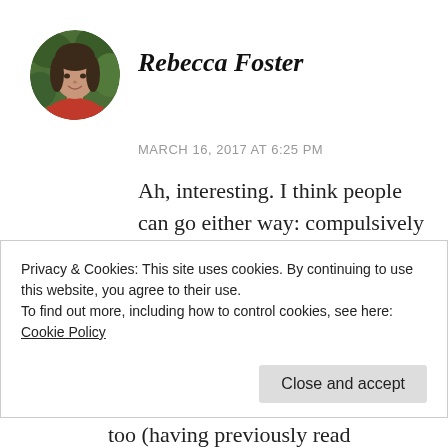[Figure (photo): Circular avatar photo of a woman with dark hair, smiling, wearing a red top, with green foliage in the background]
Rebecca Foster
MARCH 16, 2017 AT 6:25 PM
Ah, interesting. I think people can go either way: compulsively read books that echo their own experience, or avoid them entirely. My sister read pretty much nothing but
Privacy & Cookies: This site uses cookies. By continuing to use this website, you agree to their use.
To find out more, including how to control cookies, see here: Cookie Policy
Close and accept
too (having previously read